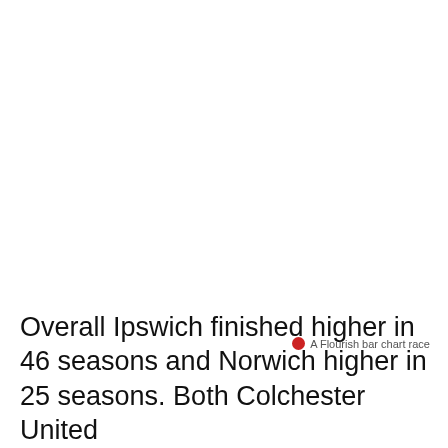[Figure (other): A Flourish bar chart race animation (content area mostly blank/white representing the chart space)]
A Flourish bar chart race
Overall Ipswich finished higher in 46 seasons and Norwich higher in 25 seasons. Both Colchester United